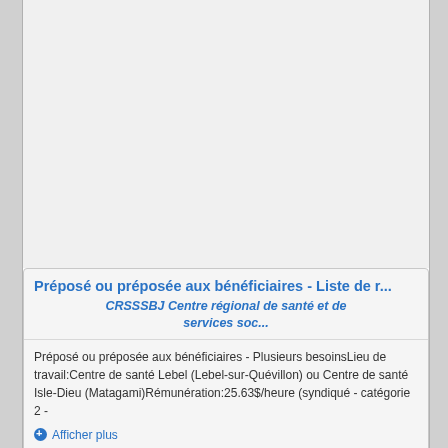Préposé ou préposée aux bénéficiaires - Liste de r...
CRSSSBJ Centre régional de santé et de services soc...
Préposé ou préposée aux bénéficiaires - Plusieurs besoinsLieu de travail:Centre de santé Lebel (Lebel-sur-Quévillon) ou Centre de santé Isle-Dieu (Matagami)Rémunération:25.63$/heure (syndiqué - catégorie 2 -
Afficher plus
Lebel-sur-Quevillon, Québec
Détails
Préposé(e) au service
Super C